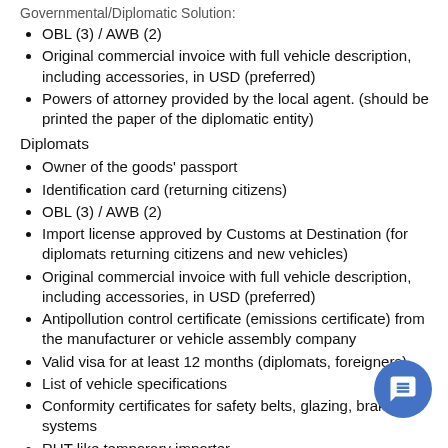OBL (3) / AWB (2)
Original commercial invoice with full vehicle description, including accessories, in USD (preferred)
Powers of attorney provided by the local agent. (should be printed the paper of the diplomatic entity)
Diplomats
Owner of the goods' passport
Identification card (returning citizens)
OBL (3) / AWB (2)
Import license approved by Customs at Destination (for diplomats returning citizens and new vehicles)
Original commercial invoice with full vehicle description, including accessories, in USD (preferred)
Antipollution control certificate (emissions certificate) from the manufacturer or vehicle assembly company
Valid visa for at least 12 months (diplomats, foreigners)
List of vehicle specifications
Conformity certificates for safety belts, glazing, braking systems
RUT like temporary importer
Specific Information
Customs clearance takes approximately 3-4 weeks from the date of arrival at the airport or port.